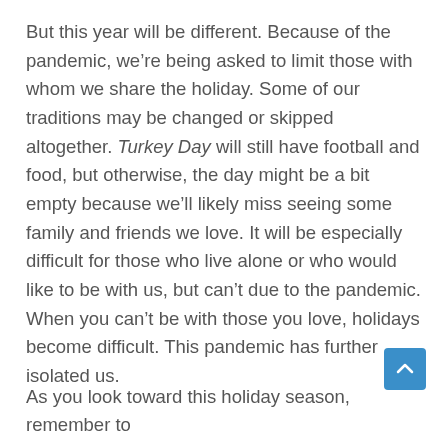But this year will be different. Because of the pandemic, we're being asked to limit those with whom we share the holiday. Some of our traditions may be changed or skipped altogether. Turkey Day will still have football and food, but otherwise, the day might be a bit empty because we'll likely miss seeing some family and friends we love. It will be especially difficult for those who live alone or who would like to be with us, but can't due to the pandemic. When you can't be with those you love, holidays become difficult. This pandemic has further isolated us.
As you look toward this holiday season, remember to